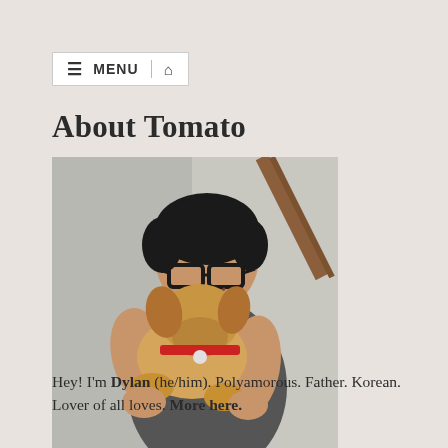≡ MENU 🏠
About Tomato
[Figure (photo): A smiling man wearing glasses holding a small golden/tan dog with a red collar, indoors near a staircase.]
Hey! I'm Dylan (he/him). Polyamorous. Father. Korean. Lover of all loves. More here.